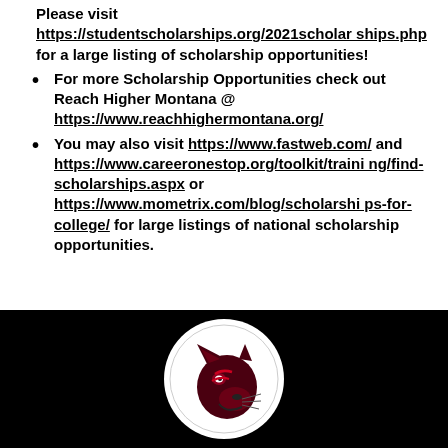Please visit https://studentscholarships.org/2021scholarships.php for a large listing of scholarship opportunities!
For more Scholarship Opportunities check out Reach Higher Montana @ https://www.reachhighermontana.org/
You may also visit https://www.fastweb.com/ and https://www.careeronestop.org/toolkit/training/find-scholarships.aspx or https://www.mometrix.com/blog/scholarships-for-college/ for large listings of national scholarship opportunities.
[Figure (logo): School mascot logo — panther head in a white circle on black background]